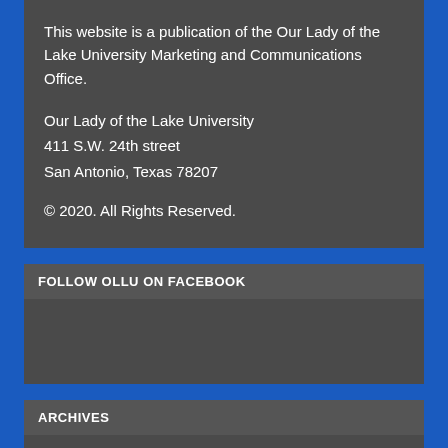This website is a publication of the Our Lady of the Lake University Marketing and Communications Office.
Our Lady of the Lake University
411 S.W. 24th street
San Antonio, Texas 78207
© 2020. All Rights Reserved.
FOLLOW OLLU ON FACEBOOK
ARCHIVES